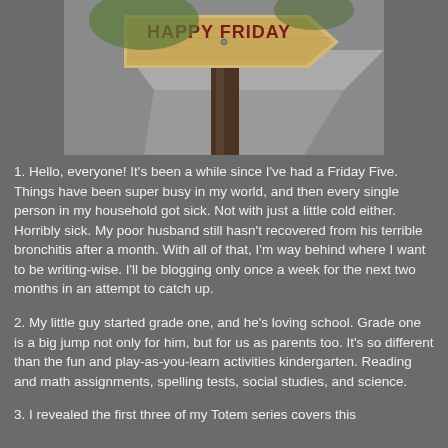[Figure (photo): A wooden road sign with 'HAPPY FRIDAY' text in red letters on a yellow arrow-shaped board, standing by a road with a tree trunk, outdoor daytime setting.]
1. Hello, everyone! It's been a while since I've had a Friday Five. Things have been super busy in my world, and then every single person in my household got sick. Not with just a little cold either. Horribly sick. My poor husband still hasn't recovered from his terrible bronchitis after a month. With all of that, I'm way behind where I want to be writing-wise. I'll be blogging only once a week for the next two months in an attempt to catch up.
2. My little guy started grade one, and he's loving school. Grade one is a big jump not only for him, but for us as parents too. It's so different than the fun and play-as-you-learn activities kindergarten. Reading and math assignments, spelling tests, social studies, and science.
3. I revealed the first three of my Totem series covers this